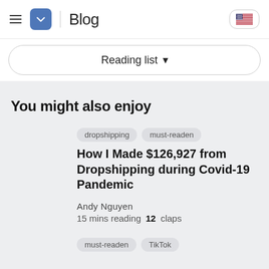Blog
Reading list ▾
You might also enjoy
dropshipping  must-readen
How I Made $126,927 from Dropshipping during Covid-19 Pandemic
Andy Nguyen
15 mins reading  12 claps
must-readen  TikTok